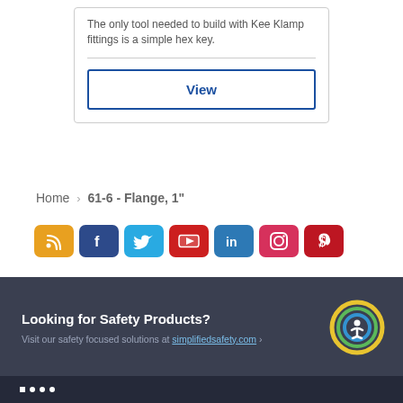The only tool needed to build with Kee Klamp fittings is a simple hex key.
View
Home > 61-6 - Flange, 1"
[Figure (infographic): Row of 7 social media icon buttons: RSS (orange), Facebook (dark blue), Twitter (light blue), YouTube (red), LinkedIn (blue), Instagram (pink-red), Pinterest (dark red)]
Looking for Safety Products?
Visit our safety focused solutions at simplifiedsafety.com >
[Figure (logo): Simplified Safety circular logo with accessibility icon in yellow, green, blue concentric rings]